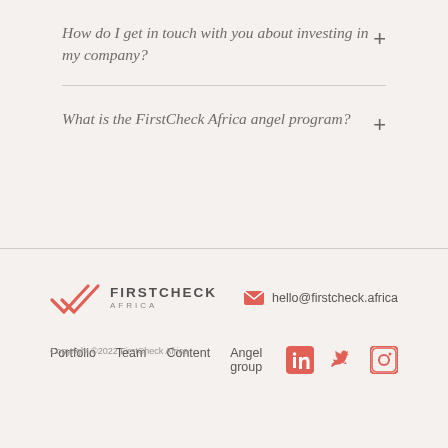How do I get in touch with you about investing in my company?
What is the FirstCheck Africa angel program?
[Figure (logo): FirstCheck Africa logo with double checkmark SVG icon in red/salmon color and text FIRSTCHECK AFRICA]
hello@firstcheck.africa
Portfolio  Team  Content  Angel group
[Figure (other): Social media icons: LinkedIn, Twitter, Instagram in red/salmon color]
Copyright ©2022 FirstCheck Africa